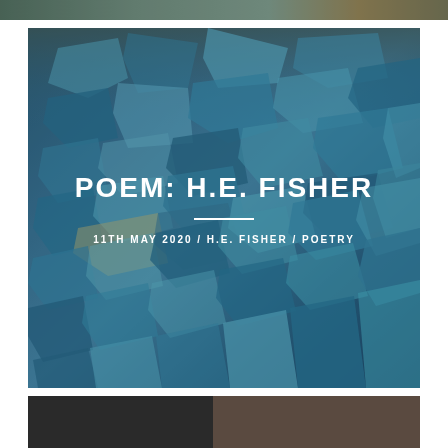[Figure (photo): Cropped top strip of an outdoor rocky/water scene image]
[Figure (photo): Large image of shattered blue-tinted glass pieces scattered on a surface, with overlaid text reading 'POEM: H.E. FISHER' and metadata '11TH MAY 2020 / H.E. FISHER / POETRY']
POEM: H.E. FISHER
11TH MAY 2020 / H.E. FISHER / POETRY
[Figure (photo): Bottom strip showing partial view of another image with dark tones (brown/black color blocks)]